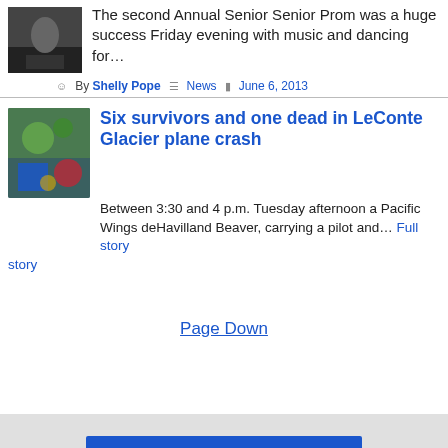[Figure (photo): Small thumbnail photo, dark tones, person at event]
The second Annual Senior Senior Prom was a huge success Friday evening with music and dancing for…
By Shelly Pope  News  June 6, 2013
[Figure (photo): Thumbnail photo with colorful floral/nature scene, blue and red colors]
Six survivors and one dead in LeConte Glacier plane crash
Between 3:30 and 4 p.m. Tuesday afternoon a Pacific Wings deHavilland Beaver, carrying a pilot and… Full story
Page Down